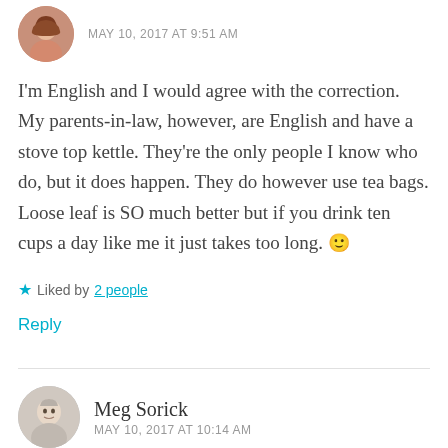MAY 10, 2017 AT 9:51 AM
I’m English and I would agree with the correction. My parents-in-law, however, are English and have a stove top kettle. They’re the only people I know who do, but it does happen. They do however use tea bags. Loose leaf is SO much better but if you drink ten cups a day like me it just takes too long. 🙂
★ Liked by 2 people
Reply
Meg Sorick
MAY 10, 2017 AT 10:14 AM